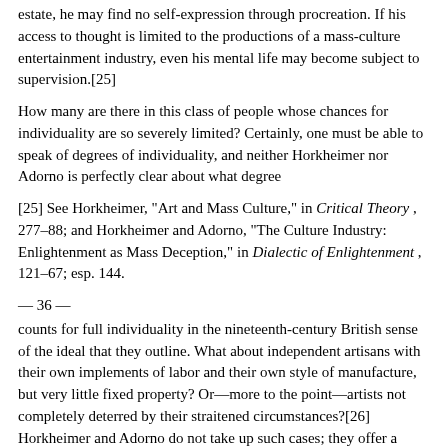estate, he may find no self-expression through procreation. If his access to thought is limited to the productions of a mass-culture entertainment industry, even his mental life may become subject to supervision.[25]
How many are there in this class of people whose chances for individuality are so severely limited? Certainly, one must be able to speak of degrees of individuality, and neither Horkheimer nor Adorno is perfectly clear about what degree
[25] See Horkheimer, "Art and Mass Culture," in Critical Theory , 277–88; and Horkheimer and Adorno, "The Culture Industry: Enlightenment as Mass Deception," in Dialectic of Enlightenment , 121–67; esp. 144.
— 36 —
counts for full individuality in the nineteenth-century British sense of the ideal that they outline. What about independent artisans with their own implements of labor and their own style of manufacture, but very little fixed property? Or—more to the point—artists not completely deterred by their straitened circumstances?[26] Horkheimer and Adorno do not take up such cases; they offer a theoretical model, not an adequate social history. In this model, those who miss the chance for full bourgeois individuality include most of those, to begin with, who are not adult males, and of the males, many whose work gives them no more than a subsistence. Individuality, then, widely existed only among the bourgeoisie, and by the end of the nineteenth century, Horkheimer argues, the growth of